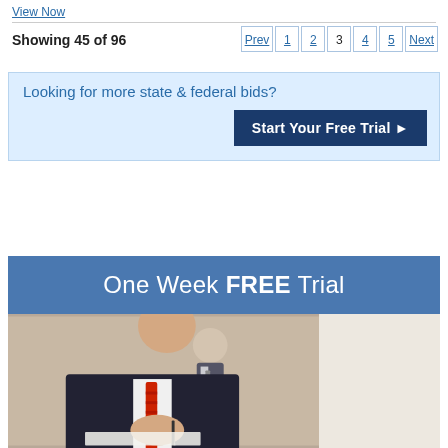View Now
Showing 45 of 96
Prev 1 2 3 4 5 Next
Looking for more state & federal bids?
Start Your Free Trial ▶
One Week FREE Trial
[Figure (photo): Two business professionals in suits, one in foreground holding a pen signing a document, another standing in the background]